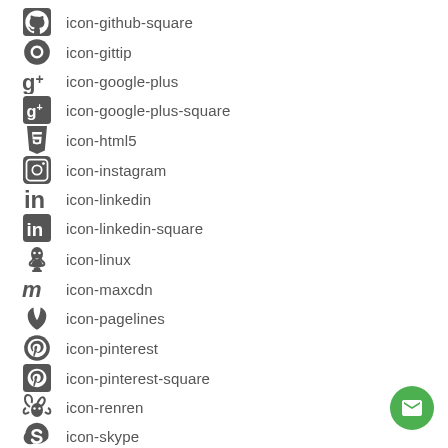icon-github-square
icon-gittip
icon-google-plus
icon-google-plus-square
icon-html5
icon-instagram
icon-linkedin
icon-linkedin-square
icon-linux
icon-maxcdn
icon-pagelines
icon-pinterest
icon-pinterest-square
icon-renren
icon-skype
icon-stack-exchange